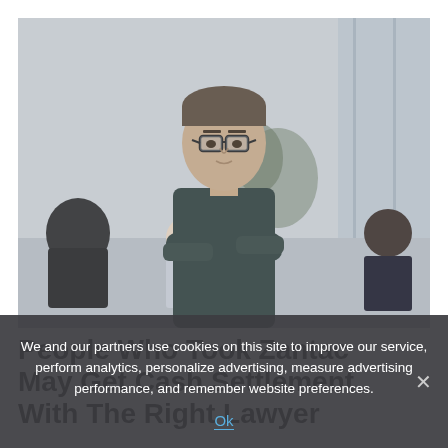[Figure (photo): Professional man in glasses with arms crossed standing in a modern office meeting room, with colleagues seated in background. Image is muted/desaturated gray-blue tones.]
People Who Took Zantac May Get Cash Settlement With The Right Lawyer
We and our partners use cookies on this site to improve our service, perform analytics, personalize advertising, measure advertising performance, and remember website preferences.
Ok